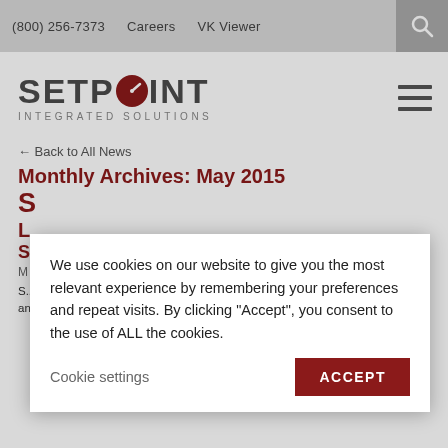(800) 256-7373    Careers    VK Viewer
[Figure (logo): Setpoint Integrated Solutions logo with dark red circle gauge icon]
← Back to All News
Monthly Archives: May 2015
S... (article title partially visible)
L... S...
M...
S... (Business Wire) Setpoint Integrated Solutions announced that its distribution and service center located in Waverly, NY
We use cookies on our website to give you the most relevant experience by remembering your preferences and repeat visits. By clicking "Accept", you consent to the use of ALL the cookies.